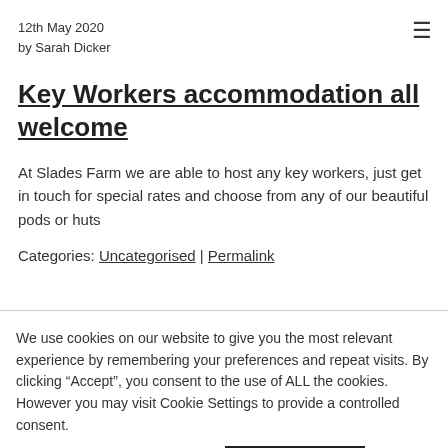12th May 2020
by Sarah Dicker
Key Workers accommodation all welcome
At Slades Farm we are able to host any key workers, just get in touch for special rates and choose from any of our beautiful pods or huts
Categories: Uncategorised | Permalink
We use cookies on our website to give you the most relevant experience by remembering your preferences and repeat visits. By clicking “Accept”, you consent to the use of ALL the cookies. However you may visit Cookie Settings to provide a controlled consent.
Cookie settings
ACCEPT